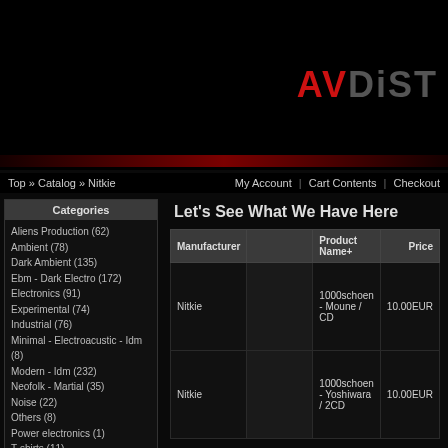[Figure (logo): AVDist logo with red AV and dark DIST text on black background]
Top » Catalog » Nitkie
My Account | Cart Contents | Checkout
Categories
Aliens Production (62)
Ambient (78)
Dark Ambient (135)
Ebm - Dark Electro (172)
Electronics (91)
Experimental (74)
Industrial (76)
Minimal - Electroacustic - Idm (8)
Modern - Idm (232)
Neofolk - Martial (35)
Noise (22)
Others (8)
Power electronics (1)
T-shirts (11)
Manufacturers
Nitkie
Let's See What We Have Here
| Manufacturer |  | Product Name+ | Price |
| --- | --- | --- | --- |
| Nitkie |  | 1000schoen - Moune / CD | 10.00EUR |
| Nitkie |  | 1000schoen - Yoshiwara / 2CD | 10.00EUR |